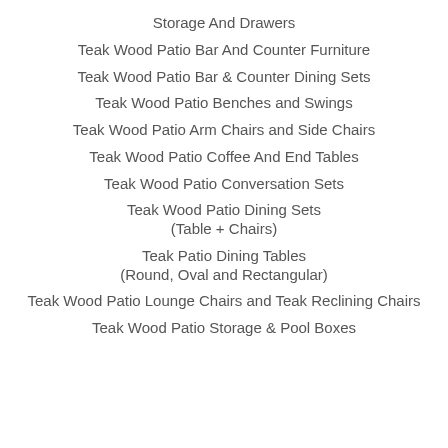Storage And Drawers
Teak Wood Patio Bar And Counter Furniture
Teak Wood Patio Bar & Counter Dining Sets
Teak Wood Patio Benches and Swings
Teak Wood Patio Arm Chairs and Side Chairs
Teak Wood Patio Coffee And End Tables
Teak Wood Patio Conversation Sets
Teak Wood Patio Dining Sets
(Table + Chairs)
Teak Patio Dining Tables
(Round, Oval and Rectangular)
Teak Wood Patio Lounge Chairs and Teak Reclining Chairs
Teak Wood Patio Storage & Pool Boxes